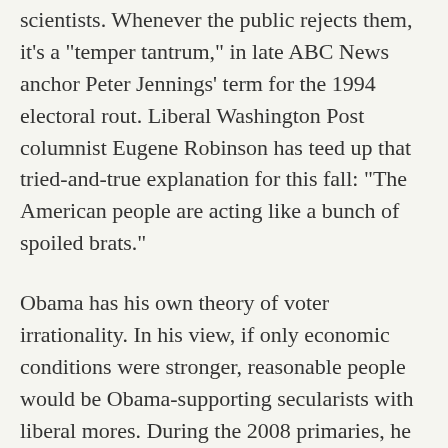scientists. Whenever the public rejects them, it's a "temper tantrum," in late ABC News anchor Peter Jennings' term for the 1994 electoral rout. Liberal Washington Post columnist Eugene Robinson has teed up that tried-and-true explanation for this fall: "The American people are acting like a bunch of spoiled brats."
Obama has his own theory of voter irrationality. In his view, if only economic conditions were stronger, reasonable people would be Obama-supporting secularists with liberal mores. During the 2008 primaries, he infamously explained that people in rural areas who weren't supporting him were clinging to guns and religion because of the poor economy. It's the all-purpose explanation for any public sentiment that discomfits liberals.